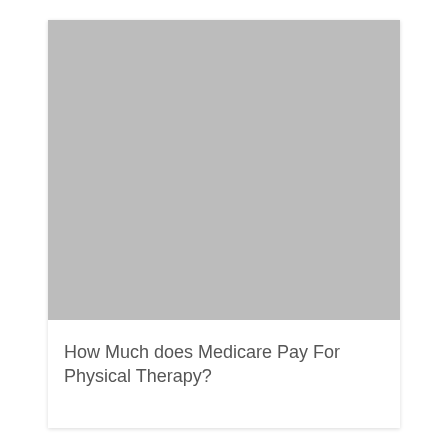[Figure (photo): Large gray placeholder image at the top of the card]
How Much does Medicare Pay For Physical Therapy?